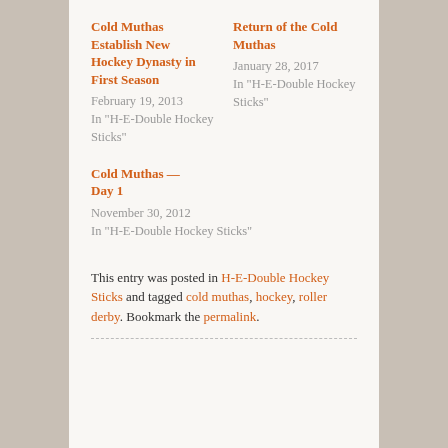Cold Muthas Establish New Hockey Dynasty in First Season
February 19, 2013
In "H-E-Double Hockey Sticks"
Return of the Cold Muthas
January 28, 2017
In "H-E-Double Hockey Sticks"
Cold Muthas — Day 1
November 30, 2012
In "H-E-Double Hockey Sticks"
This entry was posted in H-E-Double Hockey Sticks and tagged cold muthas, hockey, roller derby. Bookmark the permalink.